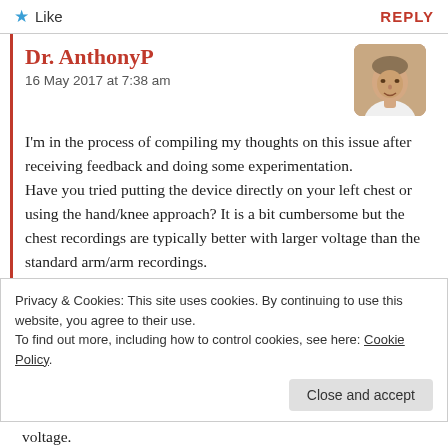Like    REPLY
Dr. AnthonyP
16 May 2017 at 7:38 am
I'm in the process of compiling my thoughts on this issue after receiving feedback and doing some experimentation.
Have you tried putting the device directly on your left chest or using the hand/knee approach? It is a bit cumbersome but the chest recordings are typically better with larger voltage than the standard arm/arm recordings.
Privacy & Cookies: This site uses cookies. By continuing to use this website, you agree to their use.
To find out more, including how to control cookies, see here: Cookie Policy

Close and accept
voltage.